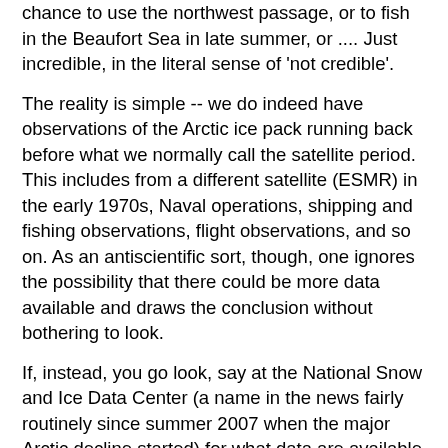chance to use the northwest passage, or to fish in the Beaufort Sea in late summer, or .... Just incredible, in the literal sense of 'not credible'.
The reality is simple -- we do indeed have observations of the Arctic ice pack running back before what we normally call the satellite period. This includes from a different satellite (ESMR) in the early 1970s, Naval operations, shipping and fishing observations, flight observations, and so on. As an antiscientific sort, though, one ignores the possibility that there could be more data available and draws the conclusion without bothering to look.
If, instead, you go look, say at the National Snow and Ice Data Center (a name in the news fairly routinely since summer 2007 when the major Arctic decline started) for what data are available on sea ice, you can rapidly find this listing of sea ice data that they have: http://nsidc.org/data/seaice/all.html . Looking through the table for 'temporal coverage', we see the AARI maps, 1953-1990, Arctic ocean ship tracks (irregularly back to 1872), Arctic ocean back to 1901 (see qualifiers as well), US-Russian atlas back to 1950, 'Morphometric characteristics of